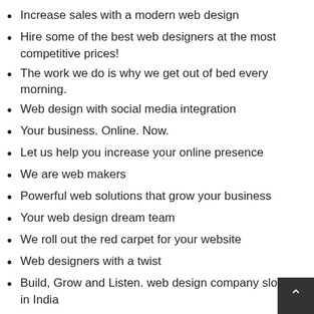Increase sales with a modern web design
Hire some of the best web designers at the most competitive prices!
The work we do is why we get out of bed every morning.
Web design with social media integration
Your business. Online. Now.
Let us help you increase your online presence
We are web makers
Powerful web solutions that grow your business
Your web design dream team
We roll out the red carpet for your website
Web designers with a twist
Build, Grow and Listen. web design company slogan in India
Let our creativity make you famous online!
Be different and get noticed
we’ll help you define your brand
We’re not just another “web design” company; Smart thinking, smart ideas; With every new website we bu
we add one more customer to our list